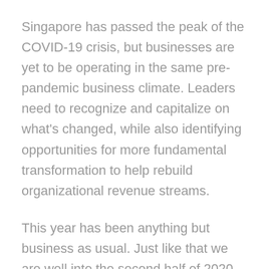Singapore has passed the peak of the COVID-19 crisis, but businesses are yet to be operating in the same pre-pandemic business climate. Leaders need to recognize and capitalize on what's changed, while also identifying opportunities for more fundamental transformation to help rebuild organizational revenue streams.
This year has been anything but business as usual. Just like that we are well into the second half of 2020 and since the COVID-19 pandemic hit in full force, agencies big and small are trying to stay viable and tide through the year.
Naturally, clients have pointed towards a more